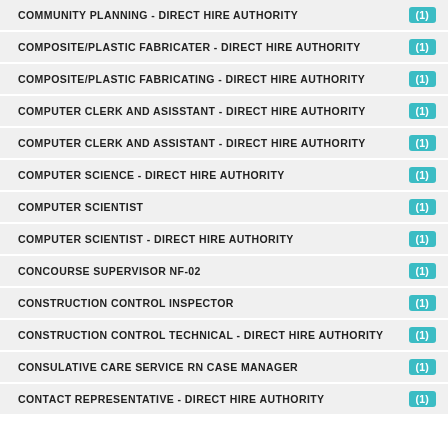COMMUNITY PLANNING - DIRECT HIRE AUTHORITY (1)
COMPOSITE/PLASTIC FABRICATER - DIRECT HIRE AUTHORITY (1)
COMPOSITE/PLASTIC FABRICATING - DIRECT HIRE AUTHORITY (1)
COMPUTER CLERK AND ASISSTANT - DIRECT HIRE AUTHORITY (1)
COMPUTER CLERK AND ASSISTANT - DIRECT HIRE AUTHORITY (1)
COMPUTER SCIENCE - DIRECT HIRE AUTHORITY (1)
COMPUTER SCIENTIST (1)
COMPUTER SCIENTIST - DIRECT HIRE AUTHORITY (1)
CONCOURSE SUPERVISOR NF-02 (1)
CONSTRUCTION CONTROL INSPECTOR (1)
CONSTRUCTION CONTROL TECHNICAL - DIRECT HIRE AUTHORITY (1)
CONSULATIVE CARE SERVICE RN CASE MANAGER (1)
CONTACT REPRESENTATIVE - DIRECT HIRE AUTHORITY (1)